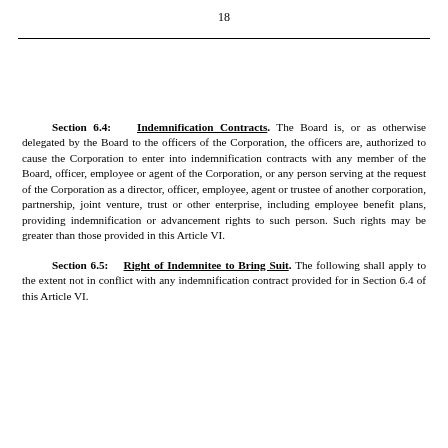18
Section 6.4: Indemnification Contracts. The Board is, or as otherwise delegated by the Board to the officers of the Corporation, the officers are, authorized to cause the Corporation to enter into indemnification contracts with any member of the Board, officer, employee or agent of the Corporation, or any person serving at the request of the Corporation as a director, officer, employee, agent or trustee of another corporation, partnership, joint venture, trust or other enterprise, including employee benefit plans, providing indemnification or advancement rights to such person. Such rights may be greater than those provided in this Article VI.
Section 6.5: Right of Indemnitee to Bring Suit. The following shall apply to the extent not in conflict with any indemnification contract provided for in Section 6.4 of this Article VI.